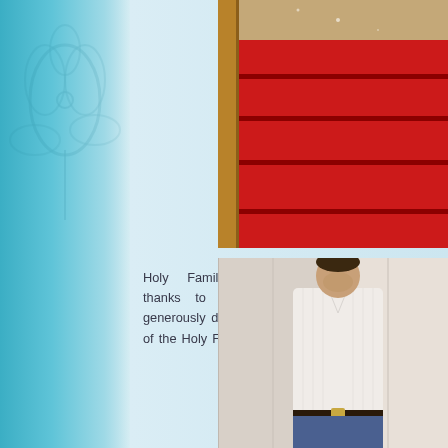[Figure (photo): Photo showing red carpeted stairs in what appears to be a church or formal building interior, upper right of page]
Holy Family extends heartfelt thanks to the Reverend Ste... generously donated a beautiful icon of the Holy Family t...
[Figure (photo): Photo of a man in a white striped shirt standing against a light wall, lower right of page]